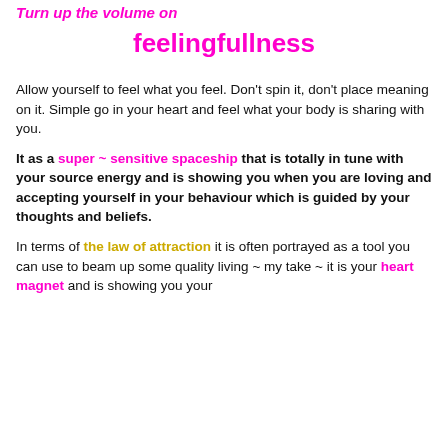Turn up the volume on
feelingfullness
Allow yourself to feel what you feel. Don't spin it, don't place meaning on it. Simple go in your heart and feel what your body is sharing with you.
It as a super ~ sensitive spaceship that is totally in tune with your source energy and is showing you when you are loving and accepting yourself in your behaviour which is guided by your thoughts and beliefs.
In terms of the law of attraction it is often portrayed as a tool you can use to beam up some quality living ~ my take ~ it is your heart magnet and is showing you your